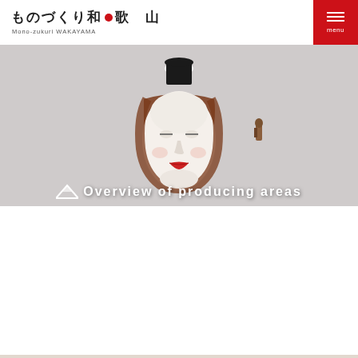ものづくり和●歌山 Mono-zukuri WAKAYAMA
[Figure (photo): Japanese Noh theater mask with white face, red lips, wearing a black and brown headdress, with a small figurine visible to the right side, displayed against a gray background]
Overview of producing areas